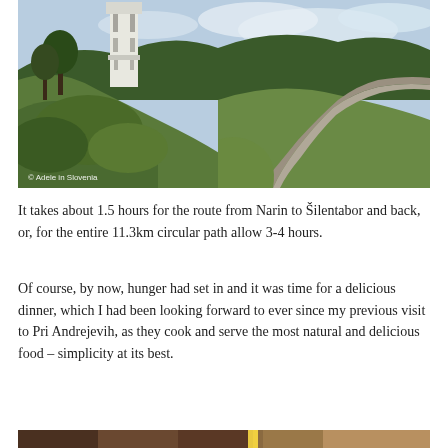[Figure (photo): Outdoor landscape photo showing a winding rural road leading uphill through green trees and shrubs, with a white church bell tower visible on the left. Sky is bright and slightly cloudy. Watermark reads '© Adele in Slovenia'.]
It takes about 1.5 hours for the route from Narin to Šilentabor and back, or, for the entire 11.3km circular path allow 3-4 hours.
Of course, by now, hunger had set in and it was time for a delicious dinner, which I had been looking forward to ever since my previous visit to Pri Andrejevih, as they cook and serve the most natural and delicious food – simplicity at its best.
[Figure (photo): Partial view of food or restaurant scene at the bottom of the page, cropped.]